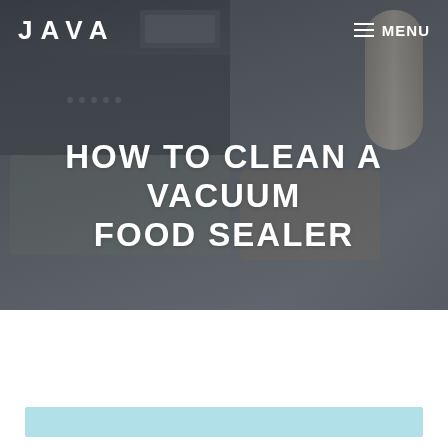JAVA
[Figure (photo): Background photo of a vacuum food sealer machine with bags of food, overlaid with dark transparent overlay. A roll of vacuum seal bags is visible on the right side.]
HOW TO CLEAN A VACUUM FOOD SEALER